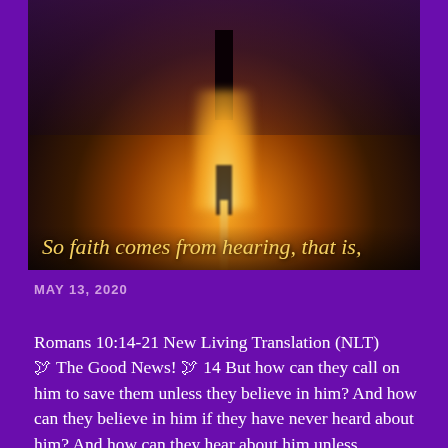[Figure (photo): A silhouette of a person or cross standing in water with a bright glowing orange/golden light reflection below, dark moody tones, overlaid with italic golden text reading 'So faith comes from hearing, that is,']
MAY 13, 2020
Romans 10:14-21 New Living Translation (NLT) 🕊 The Good News! 🕊 14 But how can they call on him to save them unless they believe in him? And how can they believe in him if they have never heard about him? And how can they hear about him unless someone tells them? 15 And how will anyone go and tell them without being